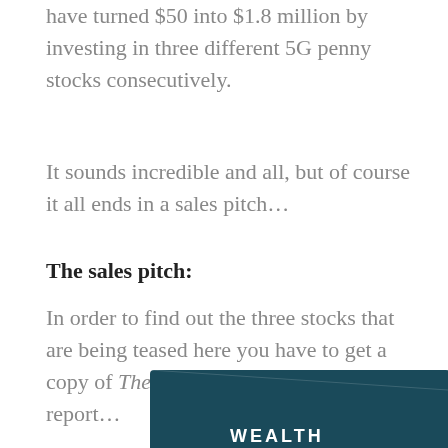have turned $50 into $1.8 million by investing in three different 5G penny stocks consecutively.
It sounds incredible and all, but of course it all ends in a sales pitch…
The sales pitch:
In order to find out the three stocks that are being teased here you have to get a copy of The Secret 5G Stock Blueprint report…
[Figure (photo): Partial image of a dark teal book/report cover with text 'WEALTH' partially visible at the bottom of the page]